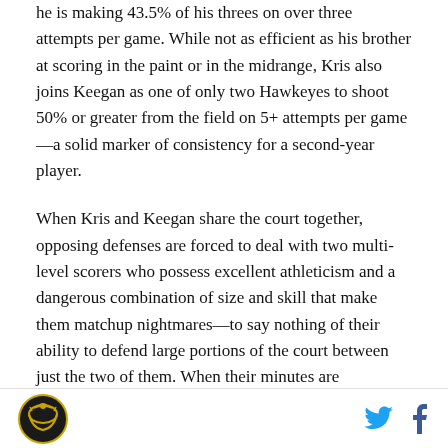he is making 43.5% of his threes on over three attempts per game. While not as efficient as his brother at scoring in the paint or in the midrange, Kris also joins Keegan as one of only two Hawkeyes to shoot 50% or greater from the field on 5+ attempts per game—a solid marker of consistency for a second-year player.
When Kris and Keegan share the court together, opposing defenses are forced to deal with two multi-level scorers who possess excellent athleticism and a dangerous combination of size and skill that make them matchup nightmares—to say nothing of their ability to defend large portions of the court between just the two of them. When their minutes are
Logo and social media icons